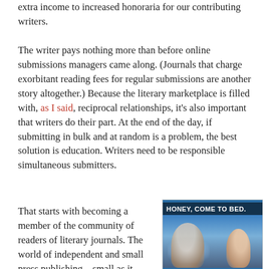extra income to increased honoraria for our contributing writers.
The writer pays nothing more than before online submissions managers came along. (Journals that charge exorbitant reading fees for regular submissions are another story altogether.) Because the literary marketplace is filled with, as I said, reciprocal relationships, it's also important that writers do their part. At the end of the day, if submitting in bulk and at random is a problem, the best solution is education. Writers need to be responsible simultaneous submitters.
That starts with becoming a member of the community of readers of literary journals. The world of independent and small press publishing – small as it
[Figure (photo): A meme image with text 'HONEY, COME TO BED.' showing a person in bed and another person lit by a screen glow, on a blue background.]